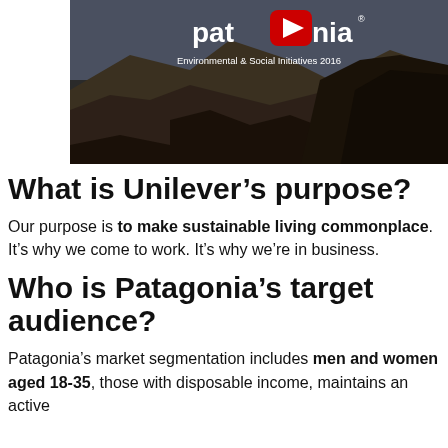[Figure (screenshot): Patagonia YouTube video thumbnail showing mountain landscape with Patagonia logo and YouTube play button overlay, subtitle reads 'Environmental & Social Initiatives 2016']
What is Unilever's purpose?
Our purpose is to make sustainable living commonplace. It's why we come to work. It's why we're in business.
Who is Patagonia's target audience?
Patagonia's market segmentation includes men and women aged 18-35, those with disposable income, maintains an active